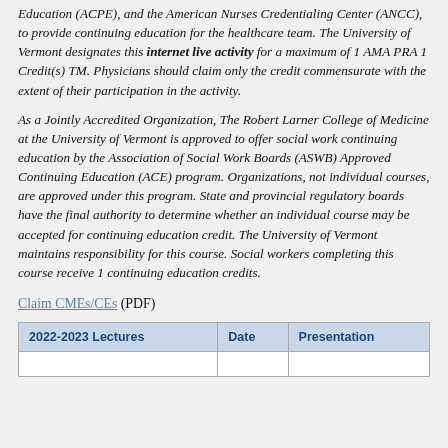Education (ACPE), and the American Nurses Credentialing Center (ANCC), to provide continuing education for the healthcare team. The University of Vermont designates this internet live activity for a maximum of 1 AMA PRA 1 Credit(s) TM. Physicians should claim only the credit commensurate with the extent of their participation in the activity.
As a Jointly Accredited Organization, The Robert Larner College of Medicine at the University of Vermont is approved to offer social work continuing education by the Association of Social Work Boards (ASWB) Approved Continuing Education (ACE) program. Organizations, not individual courses, are approved under this program. State and provincial regulatory boards have the final authority to determine whether an individual course may be accepted for continuing education credit. The University of Vermont maintains responsibility for this course. Social workers completing this course receive 1 continuing education credits.
Claim CMEs/CEs (PDF)
| 2022-2023 Lectures | Date | Presentation |
| --- | --- | --- |